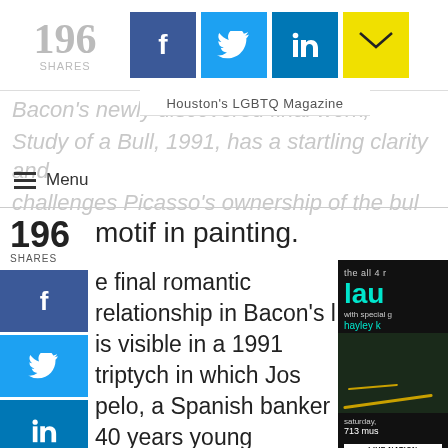196 SHARES
Houston's LGBTQ Magazine
Bacon's newly discovered final work, Study of a Bull, 1991, has a startling clarity and challenges Picasso's ownership of the bull motif in painting.
The final romantic relationship in Bacon's life is visible in a 1991 triptych in which Jose Capelo, a Spanish banker 40 years younger than Bacon, is shown on the left panel while Bacon's face is acres away on the far right. Bacon was smitten enough to give Capelo a number of his paintings, in addition to a large sum of money.